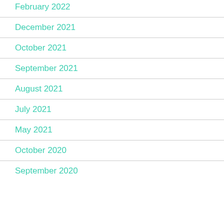February 2022
December 2021
October 2021
September 2021
August 2021
July 2021
May 2021
October 2020
September 2020